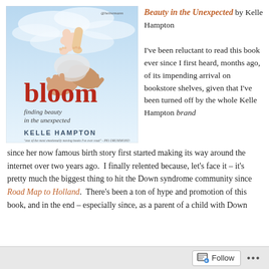[Figure (photo): Book cover of 'Bloom: Finding Beauty in the Unexpected' by Kelle Hampton, showing a baby being held up against a blue sky background. The title 'bloom' is in large red lowercase letters with 'finding beauty in the unexpected' in italic script below, and 'KELLE HAMPTON' in uppercase. Published by Heinemann.]
Beauty in the Unexpected by Kelle Hampton

I've been reluctant to read this book ever since I first heard, months ago, of its impending arrival on bookstore shelves, given that I've been turned off by the whole Kelle Hampton brand since her now famous birth story first started making its way around the internet over two years ago.  I finally relented because, let's face it – it's pretty much the biggest thing to hit the Down syndrome community since Road Map to Holland.  There's been a ton of hype and promotion of this book, and in the end – especially since, as a parent of a child with Down
Follow ...